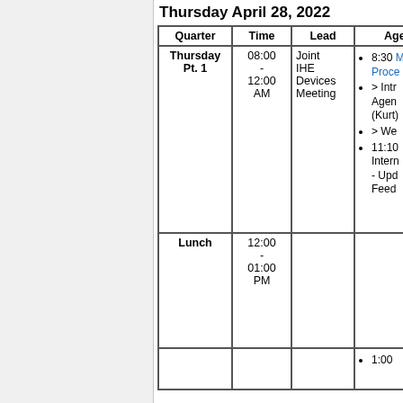Thursday April 28, 2022
| Quarter | Time | Lead | Agenda |
| --- | --- | --- | --- |
| Thursday Pt. 1 | 08:00 - 12:00 AM | Joint IHE Devices Meeting | • 8:30 Mana... Proce...
• > Intr... Agen... (Kurt)
• > We...
• 11:10 Intern... - Upd... Feed... |
| Lunch | 12:00 - 01:00 PM |  |  |
|  |  |  | • 1:00 |